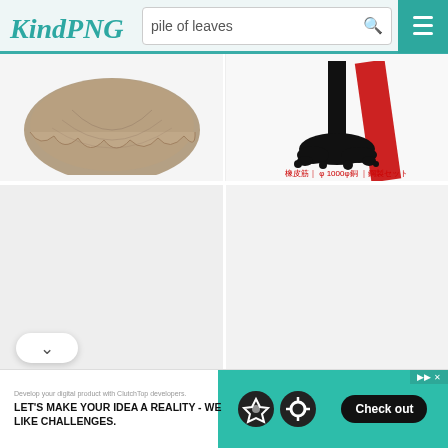KindPNG — pile of leaves search
[Figure (photo): Partial view of a brown mushroom cap with wavy edges on white background]
[Figure (photo): Black ink splatter or oil spill at the base of a black pole with red diagonal line, with Chinese/Japanese text in red below]
[Figure (photo): Light gray empty image placeholder (bottom left)]
[Figure (photo): Light gray empty image placeholder (bottom right)]
LET'S MAKE YOUR IDEA A REALITY - WE LIKE CHALLENGES.
Check out